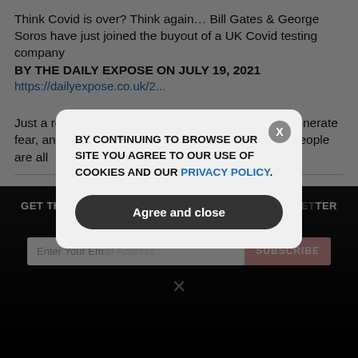Think Covid is over? Think again… Bill Gates & George Soros have just joined the buyout of a UK Covid testing company BY THE DAILY EXPOSE ON JULY 19, 2021
https://dailyexpose.co.uk/2...
Just a reminder - Fox is lying to you for ratings, to generate fear, and to exacerbate the pandemic. Their on-air people are all
see more
1  Reply
AOClies
GET THE WORLD'S BEST NATURAL HEALTH NEWSLETTER DELIVERED STRAIGHT TO YOUR INBOX
Enter Your Email Address  SUBSCRIBE
BY CONTINUING TO BROWSE OUR SITE YOU AGREE TO OUR USE OF COOKIES AND OUR PRIVACY POLICY.
Agree and close